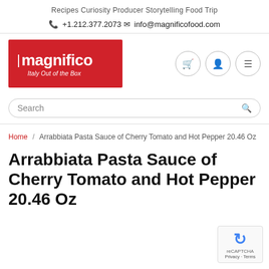Recipes  Curiosity  Producer Storytelling  Food Trip
+1.212.377.2073  info@magnificofood.com
[Figure (logo): Magnifico logo - red rectangle with white fork icon and text 'magnifico Italy Out of the Box']
Search
Home / Arrabbiata Pasta Sauce of Cherry Tomato and Hot Pepper 20.46 Oz
Arrabbiata Pasta Sauce of Cherry Tomato and Hot Pepper 20.46 Oz